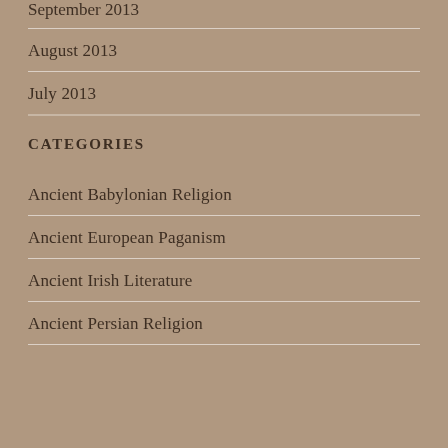September 2013
August 2013
July 2013
CATEGORIES
Ancient Babylonian Religion
Ancient European Paganism
Ancient Irish Literature
Ancient Persian Religion